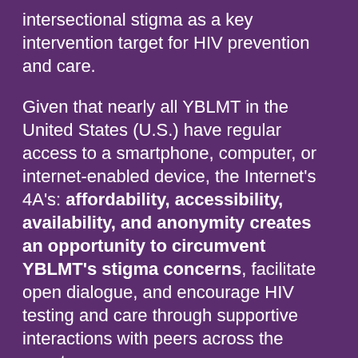intersectional stigma as a key intervention target for HIV prevention and care.
Given that nearly all YBLMT in the United States (U.S.) have regular access to a smartphone, computer, or internet-enabled device, the Internet's 4A's: affordability, accessibility, availability, and anonymity creates an opportunity to circumvent YBLMT's stigma concerns, facilitate open dialogue, and encourage HIV testing and care through supportive interactions with peers across the country.
In 2015, HealthMpowerment 1.0 was tested in a statewide randomized controlled trial (RCT) in North Carolina with 474 Black MSM (age 18–30) and found statistically